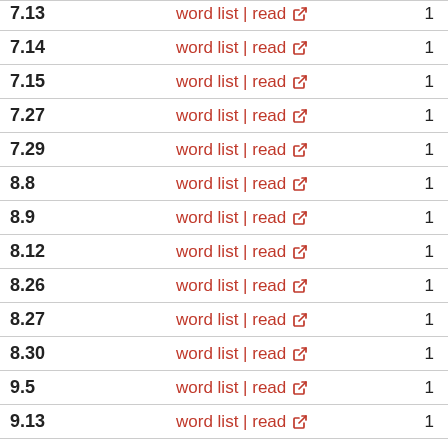|  |  |  |
| --- | --- | --- |
| 7.13 | word list | read ↗ | 1 |
| 7.14 | word list | read ↗ | 1 |
| 7.15 | word list | read ↗ | 1 |
| 7.27 | word list | read ↗ | 1 |
| 7.29 | word list | read ↗ | 1 |
| 8.8 | word list | read ↗ | 1 |
| 8.9 | word list | read ↗ | 1 |
| 8.12 | word list | read ↗ | 1 |
| 8.26 | word list | read ↗ | 1 |
| 8.27 | word list | read ↗ | 1 |
| 8.30 | word list | read ↗ | 1 |
| 9.5 | word list | read ↗ | 1 |
| 9.13 | word list | read ↗ | 1 |
| 9.15 | word list | read ↗ | 1 |